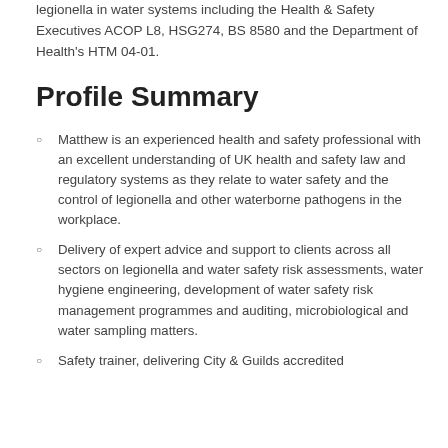legionella in water systems including the Health & Safety Executives ACOP L8, HSG274, BS 8580 and the Department of Health's HTM 04-01.
Profile Summary
Matthew is an experienced health and safety professional with an excellent understanding of UK health and safety law and regulatory systems as they relate to water safety and the control of legionella and other waterborne pathogens in the workplace.
Delivery of expert advice and support to clients across all sectors on legionella and water safety risk assessments, water hygiene engineering, development of water safety risk management programmes and auditing, microbiological and water sampling matters.
Safety trainer, delivering City & Guilds accredited